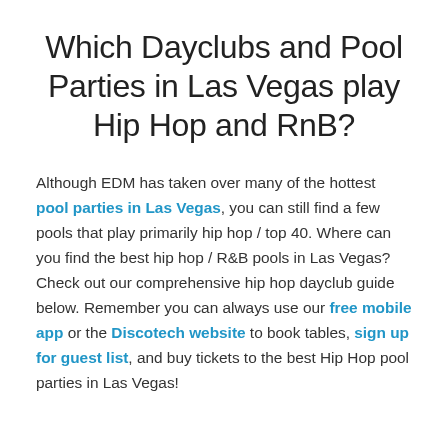Which Dayclubs and Pool Parties in Las Vegas play Hip Hop and RnB?
Although EDM has taken over many of the hottest pool parties in Las Vegas, you can still find a few pools that play primarily hip hop / top 40. Where can you find the best hip hop / R&B pools in Las Vegas? Check out our comprehensive hip hop dayclub guide below. Remember you can always use our free mobile app or the Discotech website to book tables, sign up for guest list, and buy tickets to the best Hip Hop pool parties in Las Vegas!